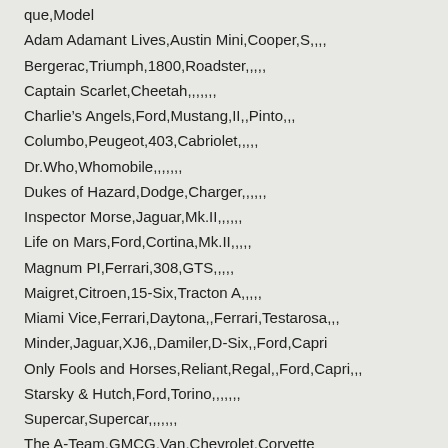que,Model
Adam Adamant Lives,Austin Mini,Cooper,S,,,,
Bergerac,Triumph,1800,Roadster,,,,,
Captain Scarlet,Cheetah,,,,,,,,
Charlie's Angels,Ford,Mustang,II,,Pinto,,,
Columbo,Peugeot,403,Cabriolet,,,,,
Dr.Who,Whomobile,,,,,,,,
Dukes of Hazard,Dodge,Charger,,,,,,
Inspector Morse,Jaguar,Mk.II,,,,,,
Life on Mars,Ford,Cortina,Mk.II,,,,,
Magnum PI,Ferrari,308,GTS,,,,,
Maigret,Citroen,15-Six,Tracton A,,,,,
Miami Vice,Ferrari,Daytona,,Ferrari,Testarosa,,,
Minder,Jaguar,XJ6,,Damiler,D-Six,,Ford,Capri
Only Fools and Horses,Reliant,Regal,,Ford,Capri,,,
Starsky & Hutch,Ford,Torino,,,,,,,
Supercar,Supercar,,,,,,,,
The A-Team,GMCG,Van,Chevrolet,Corvette